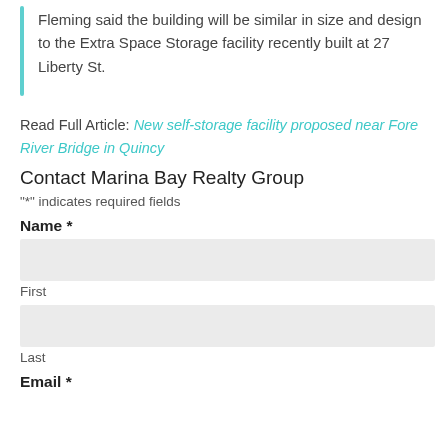Fleming said the building will be similar in size and design to the Extra Space Storage facility recently built at 27 Liberty St.
Read Full Article: New self-storage facility proposed near Fore River Bridge in Quincy
Contact Marina Bay Realty Group
"*" indicates required fields
Name *
First
Last
Email *